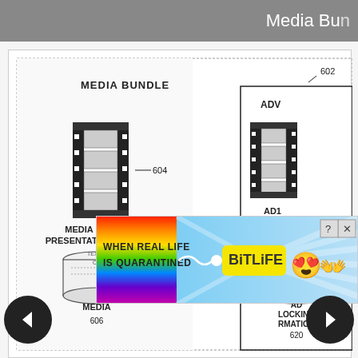Media Bu[ndle]
[Figure (engineering-diagram): Patent diagram showing a Media Bundle with components: MEDIA PRESENTATION (film reel icon, reference 604), MEDIA node (cylinder, reference 606), AD1 (film reel icon, reference 612), AD LOCKING RMATION cylinder (reference 620). Reference number 602 visible top right.]
[Figure (infographic): BitLife advertisement banner: rainbow gradient with text 'WHEN REAL LIFE IS QUARANTINED' and BitLife logo with star-eyes emoji and hands emoji. Close (X) and help (?) buttons visible.]